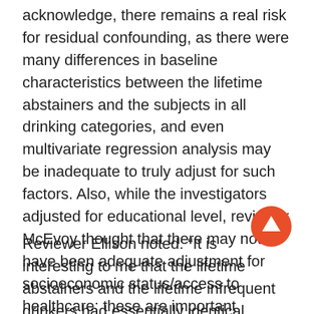acknowledge, there remains a real risk for residual confounding, as there were many differences in baseline characteristics between the lifetime abstainers and the subjects in all drinking categories, and even multivariate regression analysis may be inadequate to truly adjust for such factors. Also, while the investigators adjusted for educational level, reviewer McEvoy thought that there may not have been adequate adjustment for socioeconomic status/access to healthcare; these are important modifying factors for the relation of alcohol to health, and could underlie some of the race/ethnicity differences observed.
Reviewer Ellison noted: “It is interesting to me that the lifetime abstainers and the lifetime infrequent drinkers had essentially identical results on mortality;